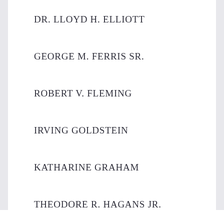DR. LLOYD H. ELLIOTT
GEORGE M. FERRIS SR.
ROBERT V. FLEMING
IRVING GOLDSTEIN
KATHARINE GRAHAM
THEODORE R. HAGANS JR.
STEPHEN D. HARLAN